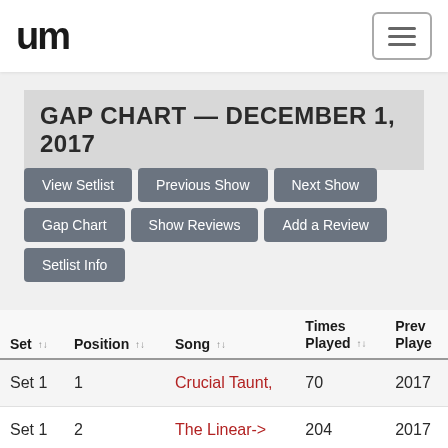um [logo] [hamburger menu]
GAP CHART — DECEMBER 1, 2017
View Setlist
Previous Show
Next Show
Gap Chart
Show Reviews
Add a Review
Setlist Info
| Set | Position | Song | Times Played | Prev. Played |
| --- | --- | --- | --- | --- |
| Set 1 | 1 | Crucial Taunt, | 70 | 2017… |
| Set 1 | 2 | The Linear-> | 204 | 2017… |
| Set 1 | 3 | Walletsworth, | 351 | 2017… |